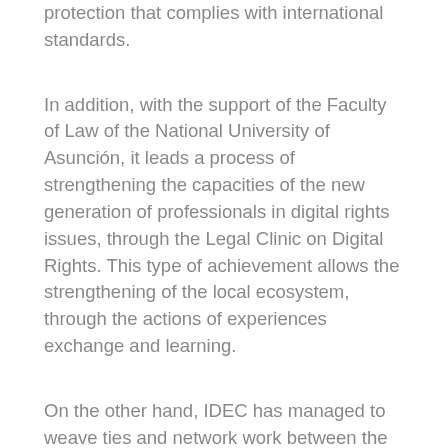protection that complies with international standards.
In addition, with the support of the Faculty of Law of the National University of Asunción, it leads a process of strengthening the capacities of the new generation of professionals in digital rights issues, through the Legal Clinic on Digital Rights. This type of achievement allows the strengthening of the local ecosystem, through the actions of experiences exchange and learning.
On the other hand, IDEC has managed to weave ties and network work between the digital rights community and the consumer rights community in the region, for regional collective political action. These impacts allow strengthening the incidence